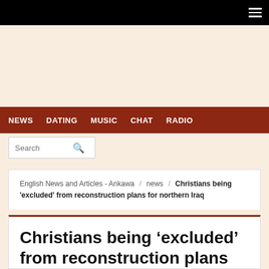NEWS
DATING
MUSIC
CHAT
RADIO
English News and Articles - Ankawa / news / Christians being 'excluded' from reconstruction plans for northern Iraq
Christians being 'excluded' from reconstruction plans for northern Iraq